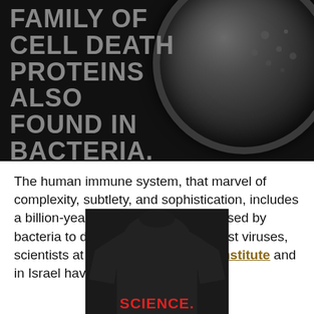FAMILY OF CELL DEATH PROTEINS ALSO FOUND IN BACTERIA.
The human immune system, that marvel of complexity, subtlety, and sophistication, includes a billion-year-old family of proteins used by bacteria to defend themselves against viruses, scientists at Dana-Farber Cancer Institute and in Israel have discovered.
[Figure (photo): Black t-shirt with text 'SCIENCE. MAKES.' printed in red and green bold letters on the chest]